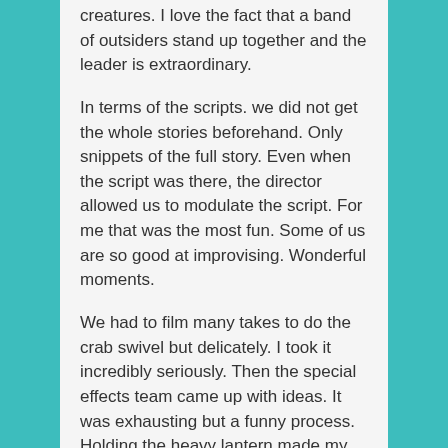creatures. I love the fact that a band of outsiders stand up together and the leader is extraordinary.
In terms of the scripts. we did not get the whole stories beforehand. Only snippets of the full story. Even when the script was there, the director allowed us to modulate the script. For me that was the most fun. Some of us are so good at improvising. Wonderful moments.
We had to film many takes to do the crab swivel but delicately. I took it incredibly seriously. Then the special effects team came up with ideas. It was exhausting but a funny process. Holding the heavy lantern made my shoulder stiff and I had to have physio.
I adore Newt. I love the fact that he's incredibly empathetic. He is very happy in his own company and stays silent a lot (I get anxious in